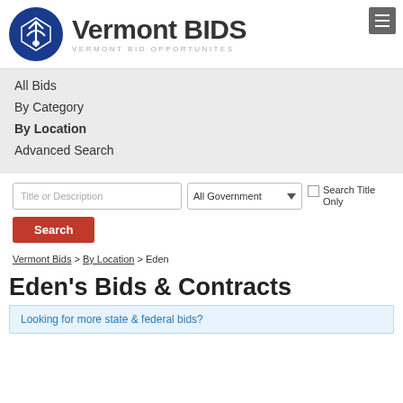Vermont BIDS — VERMONT BID OPPORTUNITES
All Bids
By Category
By Location
Advanced Search
Title or Description | All Government ▾ | Search Title Only [Search button]
Vermont Bids > By Location > Eden
Eden's Bids & Contracts
Looking for more state & federal bids?